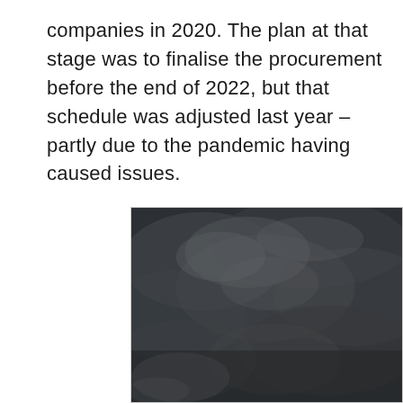companies in 2020. The plan at that stage was to finalise the procurement before the end of 2022, but that schedule was adjusted last year – partly due to the pandemic having caused issues.
[Figure (photo): Dark, overcast sky photograph showing grey cloud formations with low visibility — appears to be a dark, stormy or night sky scene.]